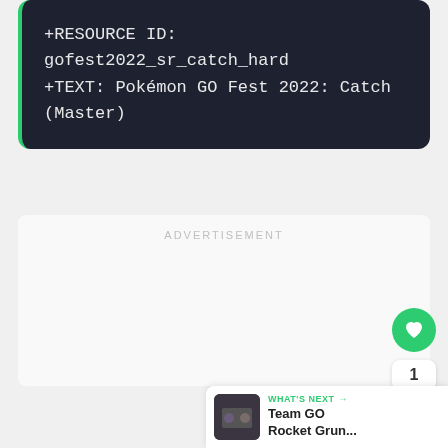[Figure (screenshot): Dark code block showing resource ID and text for Pokemon GO Fest 2022 Catch (Master)]
ADVERTISEMENT
WHAT'S NEXT → Team GO Rocket Grun...